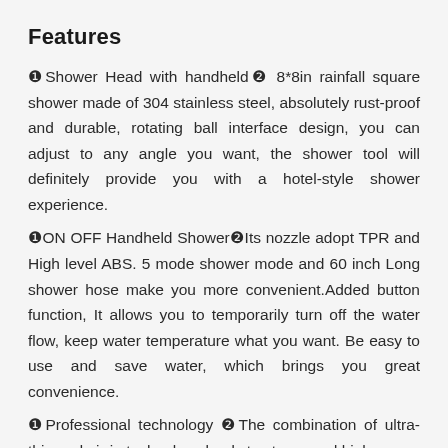Features
❶Shower Head with handheld❷ 8*8in rainfall square shower made of 304 stainless steel, absolutely rust-proof and durable, rotating ball interface design, you can adjust to any angle you want, the shower tool will definitely provide you with a hotel-style shower experience.
❶ON OFF Handheld Shower❷Its nozzle adopt TPR and High level ABS. 5 mode shower mode and 60 inch Long shower hose make you more convenient.Added button function, It allows you to temporarily turn off the water flow, keep water temperature what you want. Be easy to use and save water, which brings you great convenience.
❶Professional technology ❷The combination of ultra-thin and air-in technology leads to strong and high